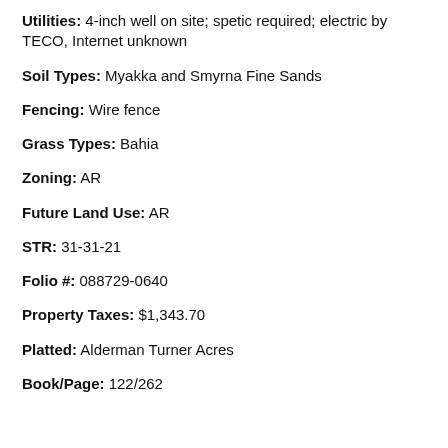Utilities: 4-inch well on site; spetic required; electric by TECO, Internet unknown
Soil Types: Myakka and Smyrna Fine Sands
Fencing: Wire fence
Grass Types: Bahia
Zoning: AR
Future Land Use: AR
STR: 31-31-21
Folio #: 088729-0640
Property Taxes: $1,343.70
Platted: Alderman Turner Acres
Book/Page: 122/262